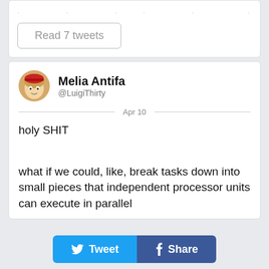· · · · · · · ·
Read 7 tweets
Melia Antifa @LuigiThirty
Apr 10
holy SHIT
what if we could, like, break tasks down into small pieces that independent processor units can execute in parallel
Tweet  Share